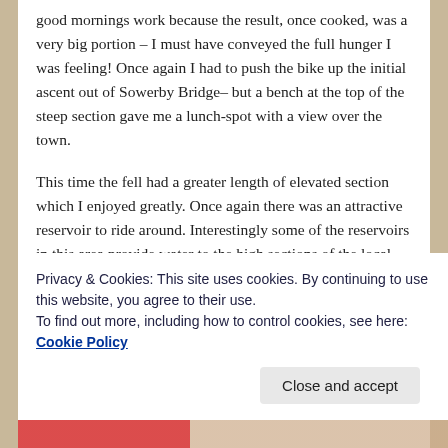good mornings work because the result, once cooked, was a very big portion – I must have conveyed the full hunger I was feeling! Once again I had to push the bike up the initial ascent out of Sowerby Bridge– but a bench at the top of the steep section gave me a lunch-spot with a view over the town.
This time the fell had a greater length of elevated section which I enjoyed greatly. Once again there was an attractive reservoir to ride around. Interestingly some of the reservoirs in this area provide water to the high sections of the local canals rather than drinking water. Finally I descended through the attractive and amusingly titled Upper Thong. My schoolboy mind boggled! It had
Privacy & Cookies: This site uses cookies. By continuing to use this website, you agree to their use.
To find out more, including how to control cookies, see here: Cookie Policy
Close and accept